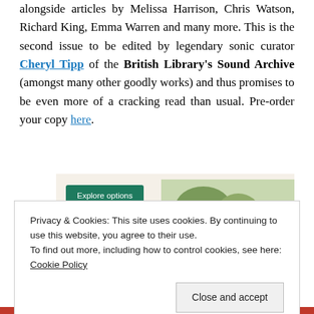alongside articles by Melissa Harrison, Chris Watson, Richard King, Emma Warren and many more. This is the second issue to be edited by legendary sonic curator Cheryl Tipp of the British Library's Sound Archive (amongst many other goodly works) and thus promises to be even more of a cracking read than usual. Pre-order your copy here.
[Figure (screenshot): Advertisement banner with 'Explore options' green button and food imagery on a beige background]
Privacy & Cookies: This site uses cookies. By continuing to use this website, you agree to their use.
To find out more, including how to control cookies, see here: Cookie Policy
Close and accept